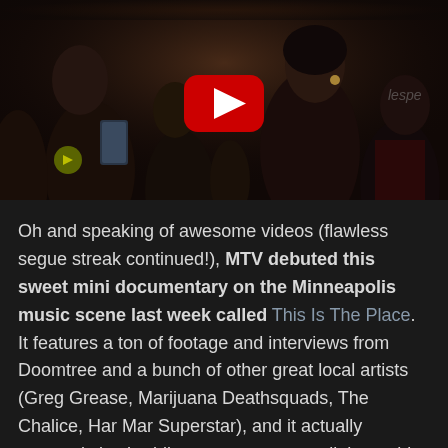[Figure (screenshot): A YouTube video thumbnail showing a crowd at a music event. People are visible in a dark venue setting. A large red YouTube play button is centered over the image.]
Oh and speaking of awesome videos (flawless segue streak continued!), MTV debuted this sweet mini documentary on the Minneapolis music scene last week called This Is The Place. It features a ton of footage and interviews from Doomtree and a bunch of other great local artists (Greg Grease, Marijuana Deathsquads, The Chalice, Har Mar Superstar), and it actually succeeds in shedding an accurate spotlight on this city's arts scene (no Reality Bites faces-spinning-on-pizza moments thankfully). If you haven't seen it yet, you owe it to...